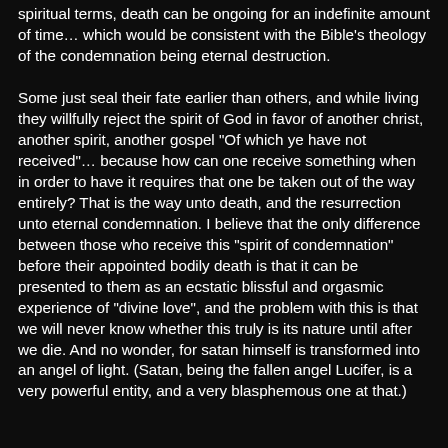spiritual terms, death can be ongoing for an indefinite amount of time… which would be consistent with the Bible's theology of the condemnation being eternal destruction.

Some just seal their fate earlier than others, and while living they willfully reject the spirit of God in favor of another christ, another spirit, another gospel "Of which ye have not received"… because how can one receive something when in order to have it requires that one be taken out of the way entirely? That is the way unto death, and the resurrection unto eternal condemnation. I believe that the only difference between those who receive this "spirit of condemnation" before their appointed bodily death is that it can be presented to them as an ecstatic blissful and orgasmic experience of "divine love", and the problem with this is that we will never know whether this truly is its nature until after we die. And no wonder, for satan himself is transformed into an angel of light. (Satan, being the fallen angel Lucifer, is a very powerful entity, and a very blasphemous one at that.)